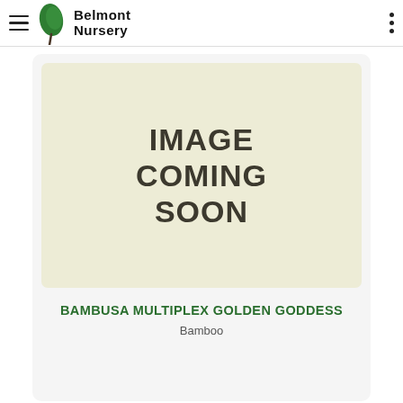Belmont Nursery
[Figure (illustration): IMAGE COMING SOON placeholder in a beige/cream square]
BAMBUSA MULTIPLEX GOLDEN GODDESS
Bamboo